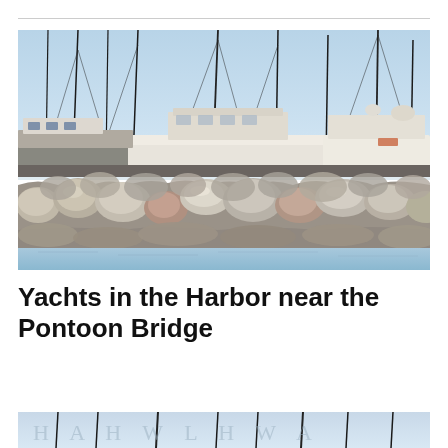[Figure (photo): Photograph of yachts moored in a harbor, with large white and grey motor yachts and sailboat masts visible behind a rocky breakwater/seawall made of large stones. Calm blue water in the foreground.]
Yachts in the Harbor near the Pontoon Bridge
[Figure (photo): Partial view of another harbor photo at the bottom of the page, showing masts and possibly water, cropped.]